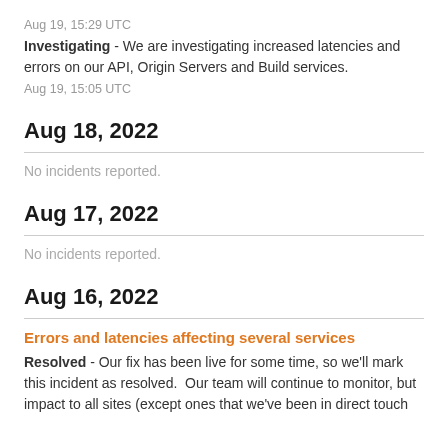Aug 19, 15:29 UTC
Investigating - We are investigating increased latencies and errors on our API, Origin Servers and Build services.
Aug 19, 15:05 UTC
Aug 18, 2022
No incidents reported.
Aug 17, 2022
No incidents reported.
Aug 16, 2022
Errors and latencies affecting several services
Resolved - Our fix has been live for some time, so we'll mark this incident as resolved.  Our team will continue to monitor, but impact to all sites (except ones that we've been in direct touch